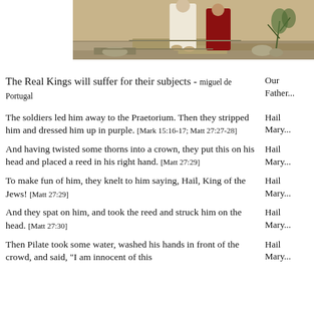[Figure (photo): Religious artwork showing robed figures on stone steps, one in white robes and one in red/dark robes, with foliage in background]
The Real Kings will suffer for their subjects - miguel de Portugal
Our Father...
The soldiers led him away to the Praetorium. Then they stripped him and dressed him up in purple. [Mark 15:16-17; Matt 27:27-28]
Hail Mary...
And having twisted some thorns into a crown, they put this on his head and placed a reed in his right hand. [Matt 27:29]
Hail Mary...
To make fun of him, they knelt to him saying, Hail, King of the Jews! [Matt 27:29]
Hail Mary...
And they spat on him, and took the reed and struck him on the head. [Matt 27:30]
Hail Mary...
Then Pilate took some water, washed his hands in front of the crowd, and said, "I am innocent of this
Hail Mary...